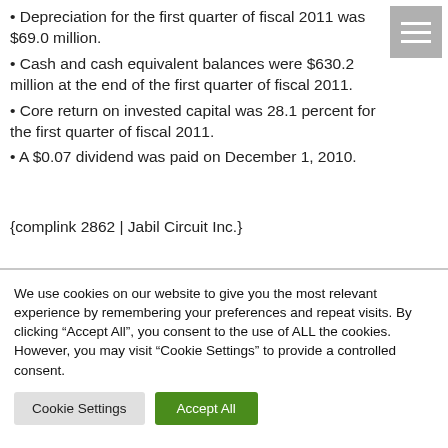• Depreciation for the first quarter of fiscal 2011 was $69.0 million.
• Cash and cash equivalent balances were $630.2 million at the end of the first quarter of fiscal 2011.
• Core return on invested capital was 28.1 percent for the first quarter of fiscal 2011.
• A $0.07 dividend was paid on December 1, 2010.
{complink 2862 | Jabil Circuit Inc.}
We use cookies on our website to give you the most relevant experience by remembering your preferences and repeat visits. By clicking “Accept All”, you consent to the use of ALL the cookies. However, you may visit "Cookie Settings" to provide a controlled consent.